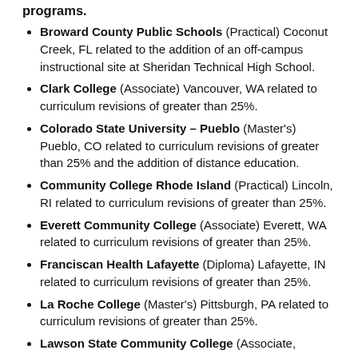programs.
Broward County Public Schools (Practical) Coconut Creek, FL related to the addition of an off-campus instructional site at Sheridan Technical High School.
Clark College (Associate) Vancouver, WA related to curriculum revisions of greater than 25%.
Colorado State University – Pueblo (Master's) Pueblo, CO related to curriculum revisions of greater than 25% and the addition of distance education.
Community College Rhode Island (Practical) Lincoln, RI related to curriculum revisions of greater than 25%.
Everett Community College (Associate) Everett, WA related to curriculum revisions of greater than 25%.
Franciscan Health Lafayette (Diploma) Lafayette, IN related to curriculum revisions of greater than 25%.
La Roche College (Master's) Pittsburgh, PA related to curriculum revisions of greater than 25%.
Lawson State Community College (Associate,